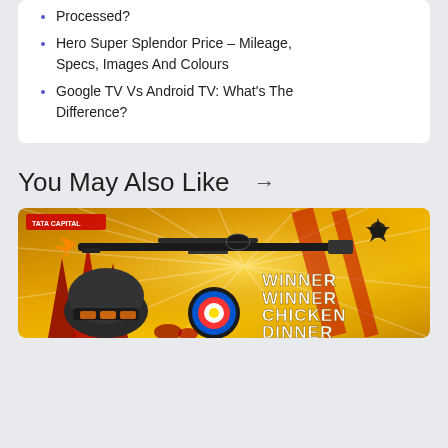Processed?
Hero Super Splendor Price – Mileage, Specs, Images And Colours
Google TV Vs Android TV: What's The Difference?
You May Also Like →
[Figure (photo): TATA Capital branded PUBG/gaming promotional image showing a sniper rifle, gaming helmet, target board, and 'WINNER WINNER CHICKEN DINNER' text on a golden/orange background]